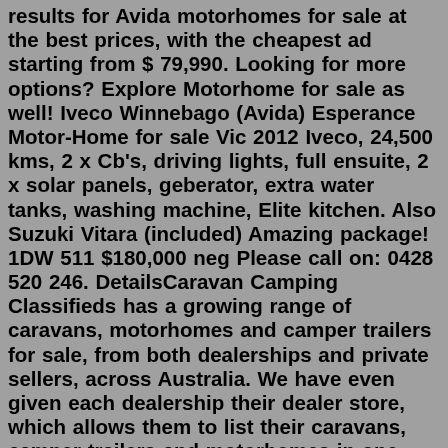results for Avida motorhomes for sale at the best prices, with the cheapest ad starting from $ 79,990. Looking for more options? Explore Motorhome for sale as well! Iveco Winnebago (Avida) Esperance Motor-Home for sale Vic 2012 Iveco, 24,500 kms, 2 x Cb's, driving lights, full ensuite, 2 x solar panels, geberator, extra water tanks, washing machine, Elite kitchen. Also Suzuki Vitara (included) Amazing package! 1DW 511 $180,000 neg Please call on: 0428 520 246. DetailsCaravan Camping Classifieds has a growing range of caravans, motorhomes and camper trailers for sale, from both dealerships and private sellers, across Australia. We have even given each dealership their dealer store, which allows them to list their caravans, camper trailers and motorhomes in one space and allows you, the buyer, to find your ...This Avida Esperance is set up to free camp with its roof-mounted solar panels, large house battery bank, and 2000watt generator. This motorhome is easy to drive and can be done so on a standard car licence. This featured packed motorhome is available now